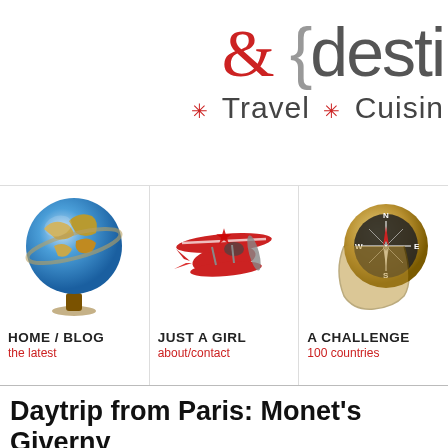& {destinations — * Travel * Cuisine
[Figure (illustration): Globe on wooden stand icon for Home/Blog navigation]
[Figure (illustration): Red biplane icon for Just A Girl navigation]
[Figure (illustration): Brass compass/binoculars icon for A Challenge navigation]
HOME / BLOG
the latest
JUST A GIRL
about/contact
A CHALLENGE
100 countries
Daytrip from Paris: Monet's Giverny
It shouldn't be any surprise that the main road of the village of Giverny is named after its most famous (former) resident, the Impressionist painter Claude Monet. Afterall, with